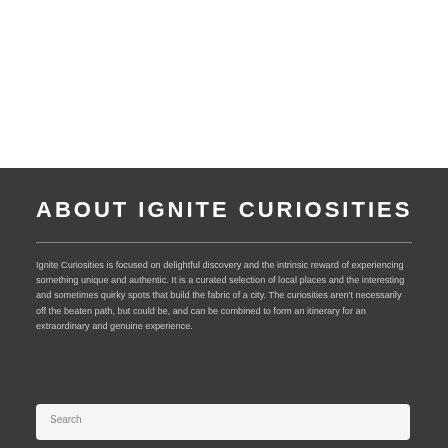ABOUT IGNITE CURIOSITIES
Ignite Curiosities is focused on delightful discovery and the intrinsic reward of experiencing something unique and authentic. It is a curated selection of local places and the interesting and sometimes quirky spots that build the fabric of a city. The curiosities aren't necessarily off the beaten path, but could be, and can be combined to form an itinerary for an extraordinary and genuine experience.
Search